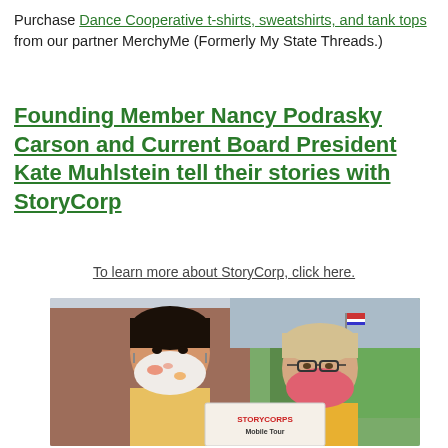Purchase Dance Cooperative t-shirts, sweatshirts, and tank tops from our partner MerchyMe (Formerly My State Threads.)
Founding Member Nancy Podrasky Carson and Current Board President Kate Muhlstein tell their stories with StoryCorp
To learn more about StoryCorp, click here.
[Figure (photo): Two women wearing face masks outdoors, one holding a StoryCorp sign. Brick building and greenery visible in background.]